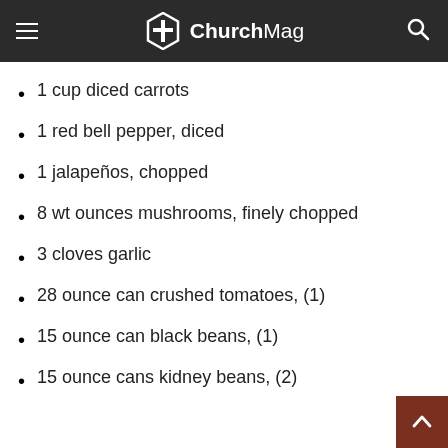ChurchMag
1 cup diced carrots
1 red bell pepper, diced
1 jalapeños, chopped
8 wt ounces mushrooms, finely chopped
3 cloves garlic
28 ounce can crushed tomatoes, (1)
15 ounce can black beans, (1)
15 ounce cans kidney beans, (2)